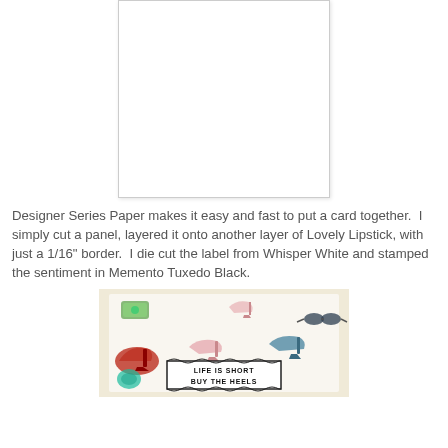[Figure (photo): A white card or panel shown against a light background, appearing mostly blank/white with a slight shadow border.]
Designer Series Paper makes it easy and fast to put a card together.  I simply cut a panel, layered it onto another layer of Lovely Lipstick, with just a 1/16" border.  I die cut the label from Whisper White and stamped the sentiment in Memento Tuxedo Black.
[Figure (photo): A handmade card featuring colorful high-heel shoes and accessories on a light background. A label banner in the center reads 'LIFE IS SHORT BUY THE HEELS' in bold black stamped text.]